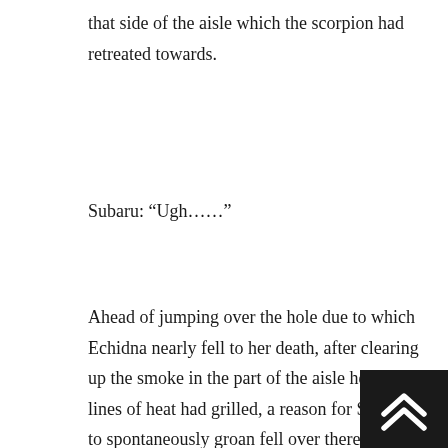that side of the aisle which the scorpion had retreated towards.
Subaru: “Ugh……”
Ahead of jumping over the hole due to which Echidna nearly fell to her death, after clearing up the smoke in the part of the aisle her white lines of heat had grilled, a reason for Subaru to spontaneously groan fell over there.
□□It was that Witch Beast’s tail, which had perhaps fallen off from its roots.
Echidna: “I see, it means there was no counteratta… Its means of attacking splintered off, which is a bit of